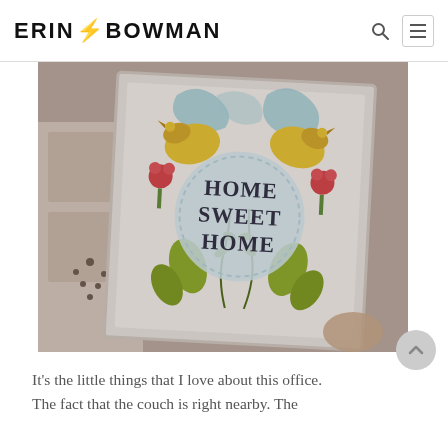ERIN BOWMAN
[Figure (photo): A framed 'Home Sweet Home' decorative print with folk art style illustration featuring yellow birds, red flowers, and green foliage, held by a hand, with a white dresser in the background.]
It’s the little things that I love about this office. The fact that the couch is right nearby. The